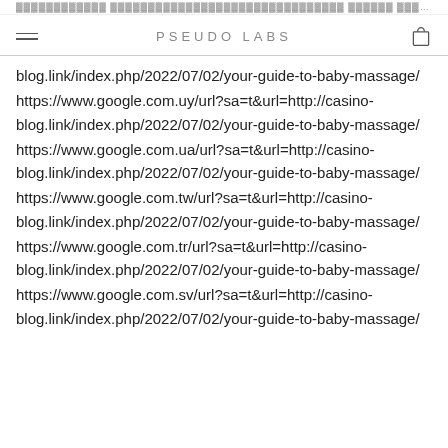PSEUDO LABS
blog.link/index.php/2022/07/02/your-guide-to-baby-massage/
https://www.google.com.uy/url?sa=t&url=http://casino-blog.link/index.php/2022/07/02/your-guide-to-baby-massage/
https://www.google.com.ua/url?sa=t&url=http://casino-blog.link/index.php/2022/07/02/your-guide-to-baby-massage/
https://www.google.com.tw/url?sa=t&url=http://casino-blog.link/index.php/2022/07/02/your-guide-to-baby-massage/
https://www.google.com.tr/url?sa=t&url=http://casino-blog.link/index.php/2022/07/02/your-guide-to-baby-massage/
https://www.google.com.sv/url?sa=t&url=http://casino-blog.link/index.php/2022/07/02/your-guide-to-baby-massage/